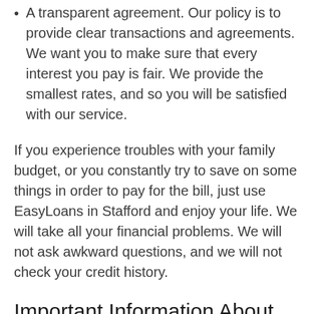A transparent agreement. Our policy is to provide clear transactions and agreements. We want you to make sure that every interest you pay is fair. We provide the smallest rates, and so you will be satisfied with our service.
If you experience troubles with your family budget, or you constantly try to save on some things in order to pay for the bill, just use EasyLoans in Stafford and enjoy your life. We will take all your financial problems. We will not ask awkward questions, and we will not check your credit history.
Important Information About Payday Loans in Stafford, Virginia